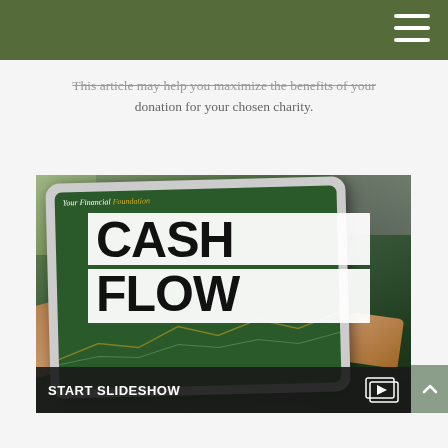This article may help you maximize the benefits of your donation for your chosen charity.
[Figure (screenshot): A tablet device displaying a financial presentation titled 'Your Financial Foundation' with a large overlay graphic reading 'CASH FLOW' in bold white text on white background boxes, over a dark green financial chart background. The image also shows hands holding the tablet.]
START SLIDESHOW